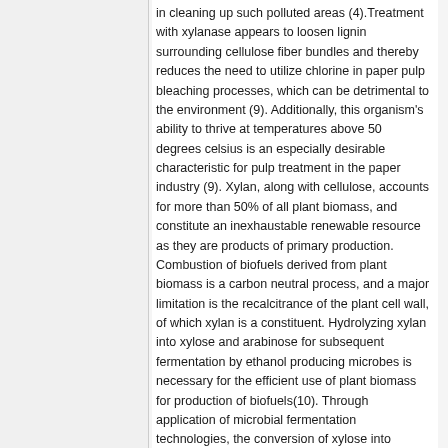in cleaning up such polluted areas (4).Treatment with xylanase appears to loosen lignin surrounding cellulose fiber bundles and thereby reduces the need to utilize chlorine in paper pulp bleaching processes, which can be detrimental to the environment (9). Additionally, this organism's ability to thrive at temperatures above 50 degrees celsius is an especially desirable characteristic for pulp treatment in the paper industry (9). Xylan, along with cellulose, accounts for more than 50% of all plant biomass, and constitute an inexhaustable renewable resource as they are products of primary production. Combustion of biofuels derived from plant biomass is a carbon neutral process, and a major limitation is the recalcitrance of the plant cell wall, of which xylan is a constituent. Hydrolyzing xylan into xylose and arabinose for subsequent fermentation by ethanol producing microbes is necessary for the efficient use of plant biomass for production of biofuels(10). Through application of microbial fermentation technologies, the conversion of xylose into